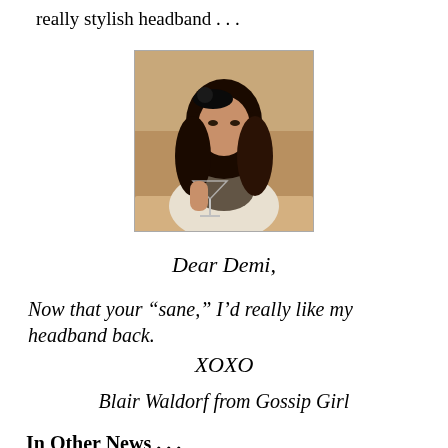really stylish headband . . .
[Figure (photo): A young woman with long wavy dark hair wearing a black headband/fascinator, dressed in a white blouse, sitting at a table holding a martini glass.]
Dear Demi,
Now that your “sane,” I’d really like my headband back.
XOXO
Blair Waldorf from Gossip Girl
In Other News . . .
Callie and Arizona shared an impromptu sexy